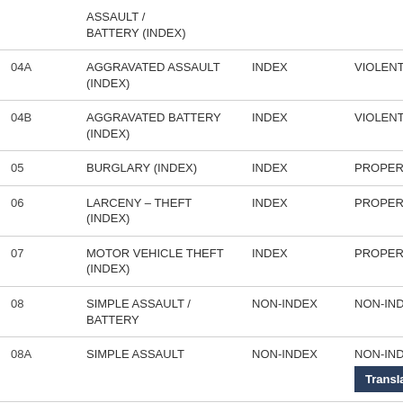| Code | Crime Type | Category | Sub-category |
| --- | --- | --- | --- |
|  | ASSAULT / BATTERY (INDEX) |  |  |
| 04A | AGGRAVATED ASSAULT (INDEX) | INDEX | VIOLENT INDEX |
| 04B | AGGRAVATED BATTERY (INDEX) | INDEX | VIOLENT INDEX |
| 05 | BURGLARY (INDEX) | INDEX | PROPERTY INDEX |
| 06 | LARCENY – THEFT (INDEX) | INDEX | PROPERTY INDEX |
| 07 | MOTOR VEHICLE THEFT (INDEX) | INDEX | PROPERTY INDEX |
| 08 | SIMPLE ASSAULT / BATTERY | NON-INDEX | NON-INDEX |
| 08A | SIMPLE ASSAULT | NON-INDEX | NON-INDEX |